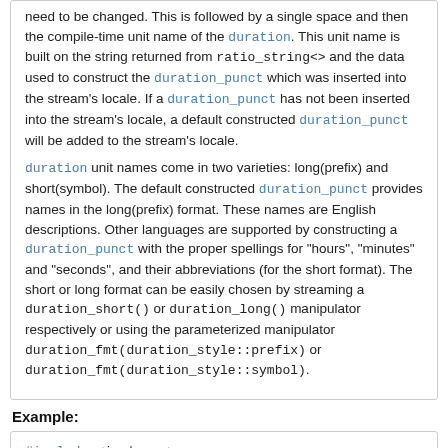need to be changed. This is followed by a single space and then the compile-time unit name of the duration. This unit name is built on the string returned from ratio_string<> and the data used to construct the duration_punct which was inserted into the stream's locale. If a duration_punct has not been inserted into the stream's locale, a default constructed duration_punct will be added to the stream's locale.

duration unit names come in two varieties: long(prefix) and short(symbol). The default constructed duration_punct provides names in the long(prefix) format. These names are English descriptions. Other languages are supported by constructing a duration_punct with the proper spellings for "hours", "minutes" and "seconds", and their abbreviations (for the short format). The short or long format can be easily chosen by streaming a duration_short() or duration_long() manipulator respectively or using the parameterized manipulator duration_fmt(duration_style::prefix) or duration_fmt(duration_style::symbol).
Example:
#include <iostream>
#include <boost/chrono/chrono_io.hpp>